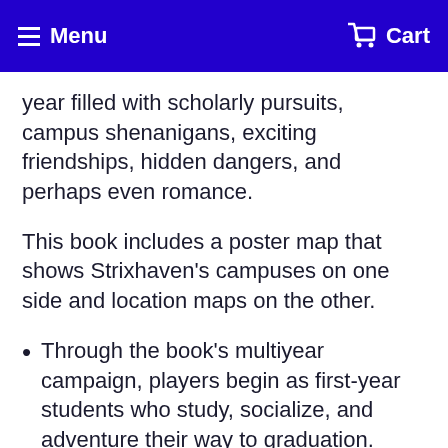Menu  Cart
year filled with scholarly pursuits, campus shenanigans, exciting friendships, hidden dangers, and perhaps even romance.
This book includes a poster map that shows Strixhaven's campuses on one side and location maps on the other.
Through the book's multiyear campaign, players begin as first-year students who study, socialize, and adventure their way to graduation.
Experience D&D in new ways through the academic challenges, extracurricular activities and jobs, and relationships explored on campus.